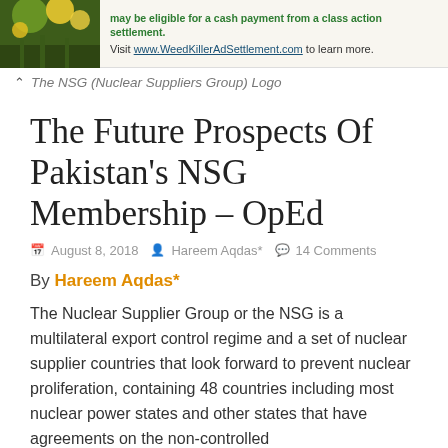[Figure (photo): Ad banner with green plant image and text about WeedKillerAdSettlement.com cash payment from a class action settlement]
The NSG (Nuclear Suppliers Group) Logo
The Future Prospects Of Pakistan's NSG Membership – OpEd
August 8, 2018   Hareem Aqdas*   14 Comments
By Hareem Aqdas*
The Nuclear Supplier Group or the NSG is a multilateral export control regime and a set of nuclear supplier countries that look forward to prevent nuclear proliferation, containing 48 countries including most nuclear power states and other states that have agreements on the non-controlled